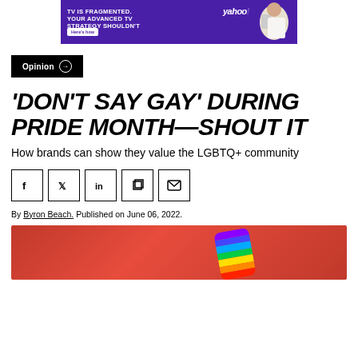[Figure (other): Yahoo advertisement banner: purple background with text 'TV IS FRAGMENTED. YOUR ADVANCED TV STRATEGY SHOULDN'T BE.' and a 'Here's how' button, yahoo! logo, and a woman holding a remote control]
Opinion →
'DON'T SAY GAY' DURING PRIDE MONTH—SHOUT IT
How brands can show they value the LGBTQ+ community
[Figure (other): Social sharing buttons: Facebook, Twitter, LinkedIn, Copy link, Email]
By Byron Beach. Published on June 06, 2022.
[Figure (photo): Hero image showing a rainbow striped card/object on a red/coral background]